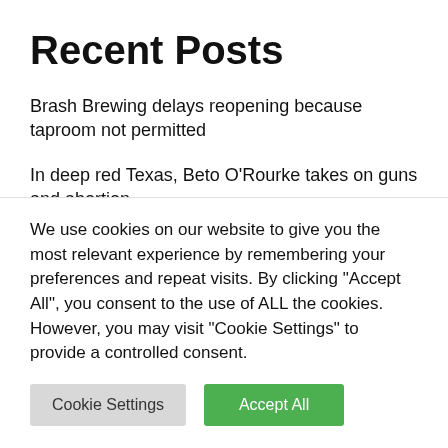Recent Posts
Brash Brewing delays reopening because taproom not permitted
In deep red Texas, Beto O’Rourke takes on guns and abortion
8-year-old from South Texas makes it to USA mullet finals
Russia’s Gazprom to shut gas pipeline to Europe for 3 days
8 Houston bars for the best frozen cocktails
We use cookies on our website to give you the most relevant experience by remembering your preferences and repeat visits. By clicking “Accept All”, you consent to the use of ALL the cookies. However, you may visit “Cookie Settings” to provide a controlled consent.
Cookie Settings
Accept All